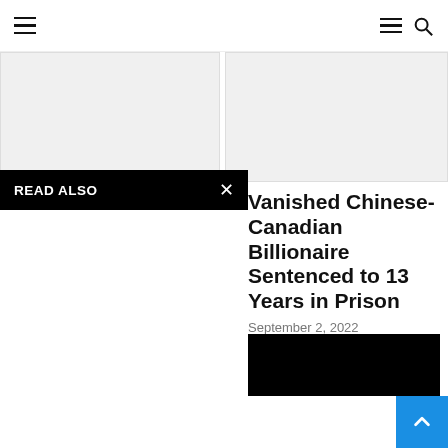Navigation bar with hamburger menu and search icon
[Figure (photo): Two gray image placeholder boxes side by side at top of page]
READ ALSO
Vanished Chinese-Canadian Billionaire Sentenced to 13 Years in Prison
September 2, 2022
[Figure (photo): Black banner/image placeholder at bottom right]
[Figure (other): Blue scroll-to-top button with upward chevron arrow]